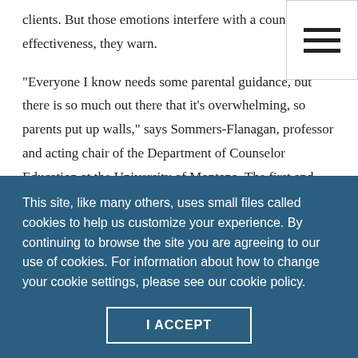clients. But those emotions interfere with a counselor's effectiveness, they warn.
“Everyone I know needs some parental guidance, but there is so much out there that it’s overwhelming, so parents put up walls,” says Sommers-Flanagan, professor and acting chair of the Department of Counselor Education at the University of Montana. The first and best thing counselors can do to encourage parents to lower those walls, Sommers-
This site, like many others, uses small files called cookies to help us customize your experience. By continuing to browse the site you are agreeing to our use of cookies. For information about how to change your cookie settings, please see our cookie policy.
I ACCEPT